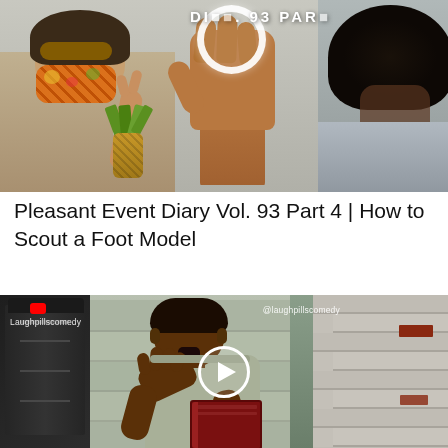[Figure (photo): Thumbnail image showing three people outdoors. Left: a woman wearing a floral face mask and sunglasses holding up a peace sign near a pineapple plant. Center: a hand holding up a white ring/circle toward the camera. Right: a person with large natural afro hair. Text overlay at top reads 'DI... VOL. 93 PART ...' in large white letters.]
Pleasant Event Diary Vol. 93 Part 4 | How to Scout a Foot Model
[Figure (photo): Video thumbnail from Laughpillscomedy channel. A young man in a light grey short-sleeve shirt holding books, with his hand raised to his mouth in surprise, standing in front of a stone/brick wall. A white play button circle is overlaid in the center. YouTube logo (red) and channel name 'Laughpillscomedy' appear top-left; '@laughpillscomedy' appears top-right.]